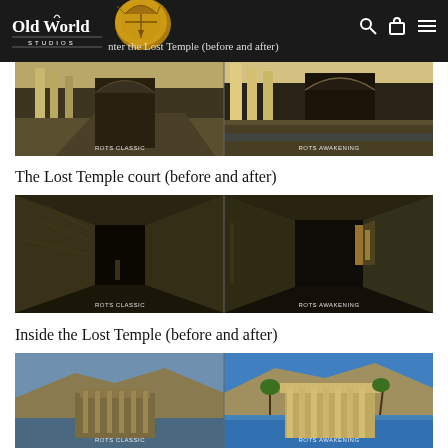Old World Studios — navigation header with logo, search, bag, and menu icons
Enter the Lost Temple (before and after)
[Figure (photo): Side-by-side comparison of the Lost Temple entrance: left panel labeled ROTS CLASSIC shows older 3D render of Egyptian temple courtyard with columns; right panel labeled ROTS AWAKENING shows updated render of same scene with improved lighting and detail.]
The Lost Temple court (before and after)
[Figure (photo): Side-by-side comparison of the Lost Temple court interior: left panel labeled ROTS CLASSIC shows older corridor render; right panel labeled ROTS AWAKENING shows updated interior with window light and improved textures.]
Inside the Lost Temple (before and after)
[Figure (photo): Side-by-side comparison showing exterior view of Lost Temple with water and cliffs: left panel ROTS CLASSIC older render; right panel ROTS AWAKENING improved render with palm trees and better lighting.]